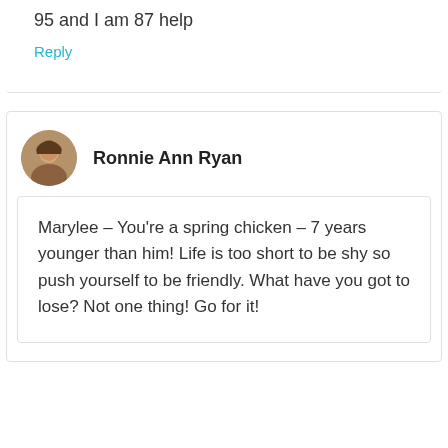95 and I am 87 help
Reply
Ronnie Ann Ryan
Marylee – You're a spring chicken – 7 years younger than him! Life is too short to be shy so push yourself to be friendly. What have you got to lose? Not one thing! Go for it!